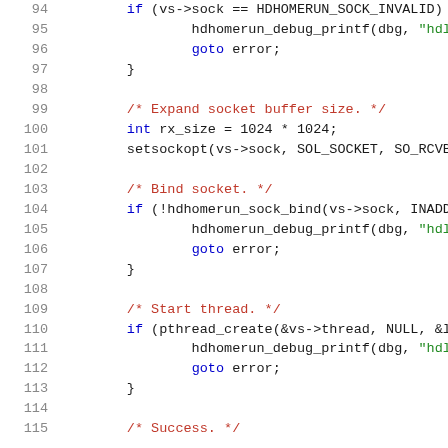[Figure (screenshot): Syntax-highlighted C source code showing lines 94–115, with socket setup logic including error checks, socket buffer expansion, socket binding, thread creation, and a start of a success comment.]